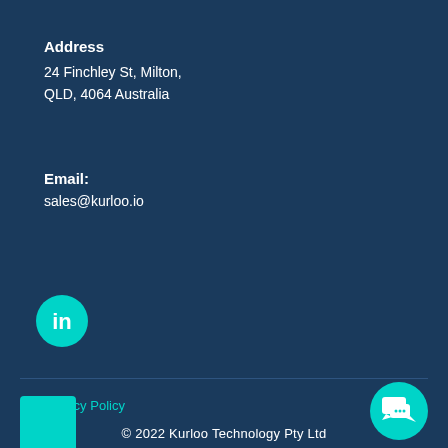Address
24 Finchley St, Milton,
QLD, 4064 Australia
Email:
sales@kurloo.io
[Figure (logo): LinkedIn icon — teal circular button with white 'in' logo]
Privacy Policy
© 2022 Kurloo Technology Pty Ltd
[Figure (logo): Teal square decorative element]
[Figure (illustration): Teal circular chat/message button icon in bottom right corner]